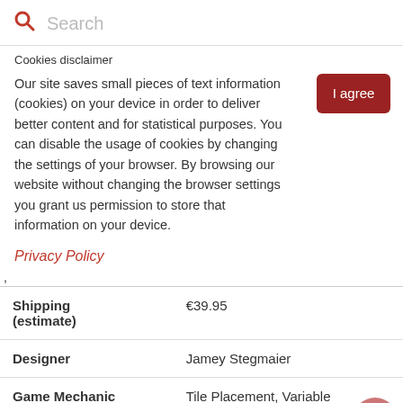Search
Cookies disclaimer
Our site saves small pieces of text information (cookies) on your device in order to deliver better content and for statistical purposes. You can disable the usage of cookies by changing the settings of your browser. By browsing our website without changing the browser settings you grant us permission to store that information on your device.
I agree
Privacy Policy
,
|  |  |
| --- | --- |
| Shipping (estimate) | €39.95 |
| Designer | Jamey Stegmaier |
| Game Mechanic | Tile Placement, Variable Player Powers, Hand Management |